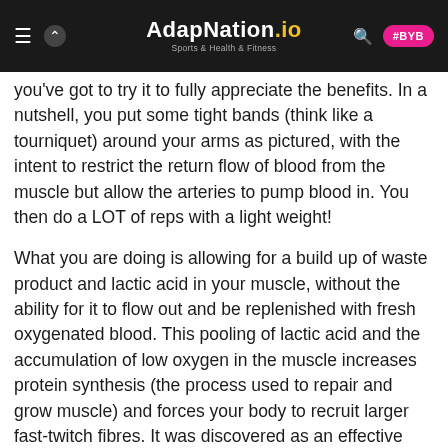AdapNation.io — Sports & Health & Fitness
you've got to try it to fully appreciate the benefits. In a nutshell, you put some tight bands (think like a tourniquet) around your arms as pictured, with the intent to restrict the return flow of blood from the muscle but allow the arteries to pump blood in. You then do a LOT of reps with a light weight!
What you are doing is allowing for a build up of waste product and lactic acid in your muscle, without the ability for it to flow out and be replenished with fresh oxygenated blood. This pooling of lactic acid and the accumulation of low oxygen in the muscle increases protein synthesis (the process used to repair and grow muscle) and forces your body to recruit larger fast-twitch fibres. It was discovered as an effective training technique for injured athletes